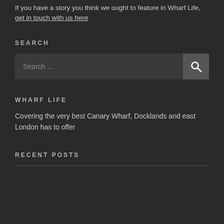If you have a story you think we ought to feature in Wharf Life, get in touch with us here
SEARCH
[Figure (screenshot): Search input box with magnifying glass button]
WHARF LIFE
Covering the very best Canary Wharf, Docklands and east London has to offer
RECENT POSTS